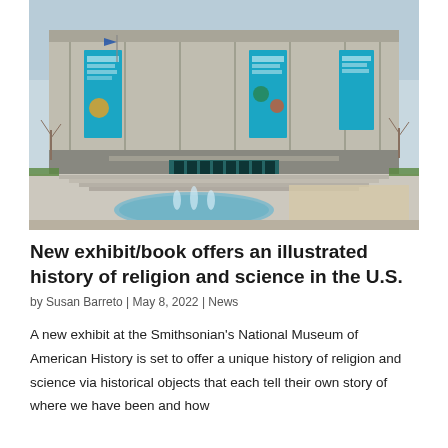[Figure (photo): Exterior photograph of the Smithsonian's National Museum of American History building, showing the concrete facade with large teal/blue banner displays, entrance plaza, a reflecting pool with fountains, and surrounding landscaping with bare trees.]
New exhibit/book offers an illustrated history of religion and science in the U.S.
by Susan Barreto | May 8, 2022 | News
A new exhibit at the Smithsonian's National Museum of American History is set to offer a unique history of religion and science via historical objects that each tell their own story of where we have been and how